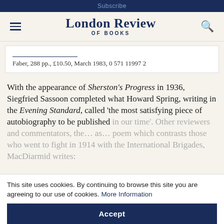Subscribe
London Review OF BOOKS
Faber, 288 pp., £10.50, March 1983, 0 571 11997 2
With the appearance of Sherston's Progress in 1936, Siegfried Sassoon completed what Howard Spring, writing in the Evening Standard, called 'the most satisfying piece of autobiography to be published in our time'. Other reviewers and commentators, the... as... poem which contrasts those who went to fight in 1914 with the International Brigades, MacDiarmid writes:
This site uses cookies. By continuing to browse this site you are agreeing to our use of cookies. More Information
Accept